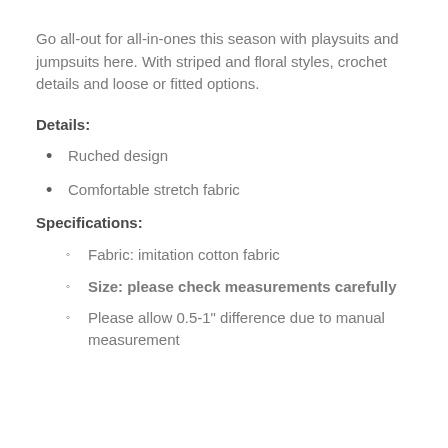Go all-out for all-in-ones this season with playsuits and jumpsuits here. With striped and floral styles, crochet details and loose or fitted options.
Details:
Ruched design
Comfortable stretch fabric
Specifications:
Fabric: imitation cotton fabric
Size: please check measurements carefully
Please allow 0.5-1" difference due to manual measurement